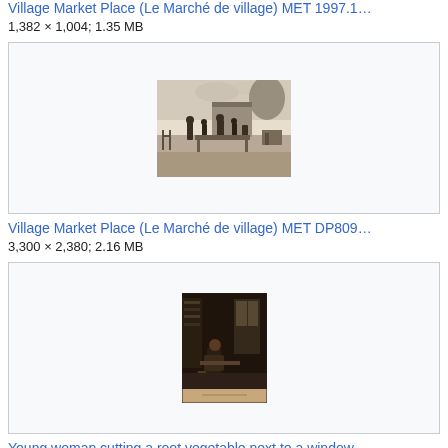Village Market Place (Le Marché de village) MET 1997.1...
1,382 × 1,004; 1.35 MB
[Figure (illustration): Thumbnail of a landscape etching showing a village market scene with figures, horses, and buildings in the background.]
Village Market Place (Le Marché de village) MET DP809...
3,300 × 2,380; 2.16 MB
[Figure (illustration): Thumbnail of a dark interior engraving showing a young woman cutting a root vegetable next to a window, with a light-colored footer band at the bottom.]
Young woman cutting a root vegetable next to a window ...